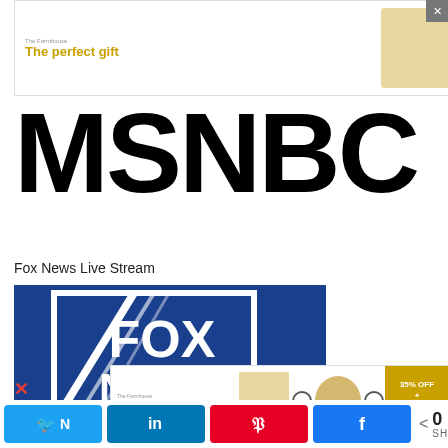[Figure (screenshot): Advertisement banner: 'The perfect gift' with food product image and '35% OFF + FREE SHIPPING' offer in gold]
MSNBC
Fox News Live Stream
[Figure (logo): Fox News Channel logo on blue background with white diagonal lines, red banner at bottom with 'channel' text]
[Figure (screenshot): Second advertisement banner: 'The perfect gift' with food product and '35% OFF + FREE SHIPPING' offer]
[Figure (infographic): Social share bar with Twitter, LinkedIn, Pinterest, Facebook buttons and 0 SHARES counter]